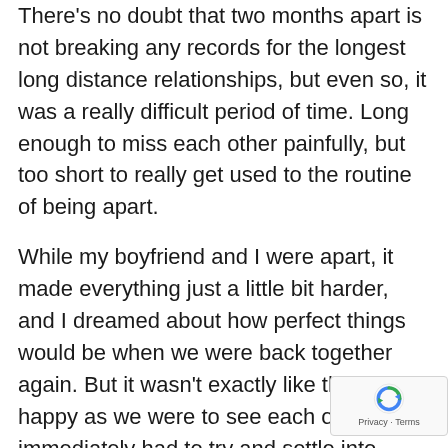There's no doubt that two months apart is not breaking any records for the longest long distance relationships, but even so, it was a really difficult period of time. Long enough to miss each other painfully, but too short to really get used to the routine of being apart.
While my boyfriend and I were apart, it made everything just a little bit harder, and I dreamed about how perfect things would be when we were back together again. But it wasn't exactly like that. As happy as we were to see each other, we immediately had to try and settle into seeing each other every day, living together, and trying to balance other aspects of our lives. It was not the fairy tale I had pictured.
But that was when I realised that even long distance relationships are still plagued with the